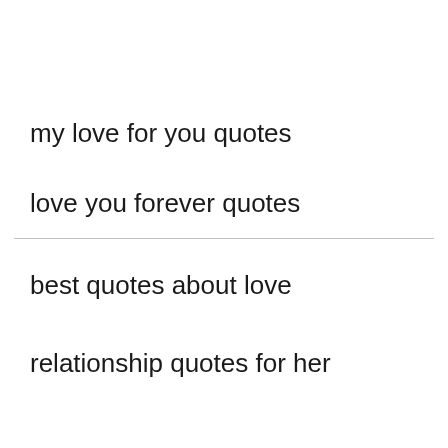my love for you quotes
love you forever quotes
best quotes about love
relationship quotes for her